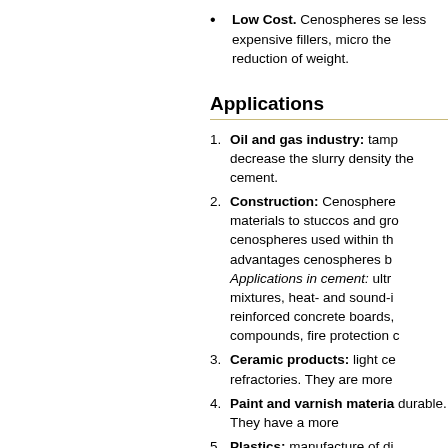Low Cost. Cenospheres serve as less expensive fillers, micro... the reduction of weight.
Applications
Oil and gas industry: tamp... decrease the slurry density... the cement.
Construction: Cenosphere... materials to stuccos and gro... cenospheres used within th... advantages cenospheres b... Applications in cement: ultr... mixtures, heat- and sound-i... reinforced concrete boards,... compounds, fire protection c...
Ceramic products: light ce... refractories. They are more...
Paint and varnish materia... durable. They have a more...
Plastics: manufacture of di...